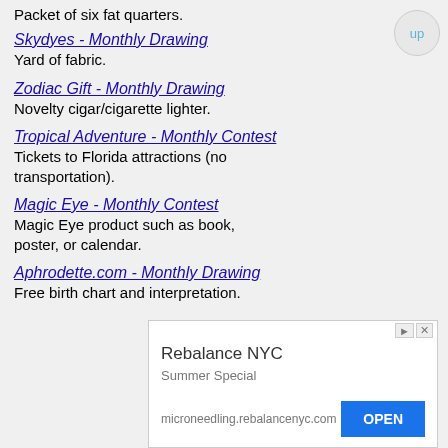Packet of six fat quarters.
Skydyes - Monthly Drawing
Yard of fabric.
Zodiac Gift - Monthly Drawing
Novelty cigar/cigarette lighter.
Tropical Adventure - Monthly Contest
Tickets to Florida attractions (no transportation).
Magic Eye - Monthly Contest
Magic Eye product such as book, poster, or calendar.
Aphrodette.com - Monthly Drawing
Free birth chart and interpretation.
[Figure (other): Advertisement: Rebalance NYC, Summer Special, microneedling.rebalancenyc.com, OPEN button]